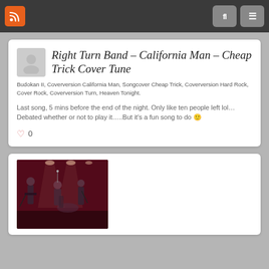RSS feed and navigation header
Right Turn Band – California Man – Cheap Trick Cover Tune
Budokan II, Coverversion California Man, Songcover Cheap Trick, Coverversion Hard Rock, Cover Rock, Coverversion Turn, Heaven Tonight.
Last song, 5 mins before the end of the night. Only like ten people left lol… Debated whether or not to play it…..But it's a fun song to do 🙂
0
[Figure (photo): Thumbnail image of a band performing on stage with red stage lighting and multiple performers visible]